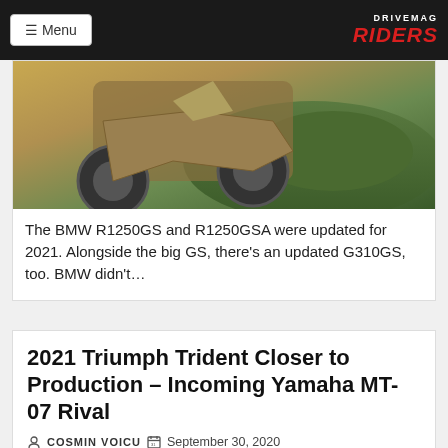≡ Menu | DRIVEMAG RIDERS
[Figure (photo): Motorcycle riding off-road on rugged terrain with dust and vegetation]
The BMW R1250GS and R1250GSA were updated for 2021. Alongside the big GS, there's an updated G310GS, too. BMW didn't…
2021 Triumph Trident Closer to Production – Incoming Yamaha MT-07 Rival
COSMIN VOICU  September 30, 2020
[Figure (photo): Triumph Trident motorcycle, partial view at bottom of page]